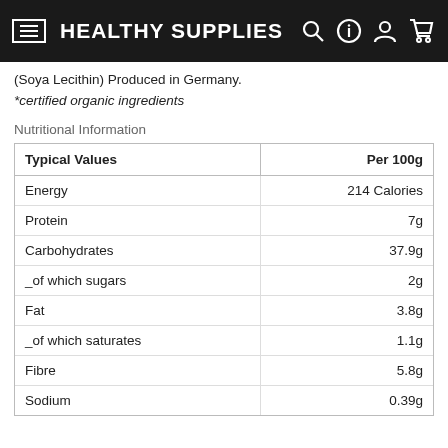HEALTHY SUPPLIES
(Soya Lecithin) Produced in Germany.
*certified organic ingredients
Nutritional Information
| Typical Values | Per 100g |
| --- | --- |
| Energy | 214 Calories |
| Protein | 7g |
| Carbohydrates | 37.9g |
| _of which sugars | 2g |
| Fat | 3.8g |
| _of which saturates | 1.1g |
| Fibre | 5.8g |
| Sodium | 0.39g |